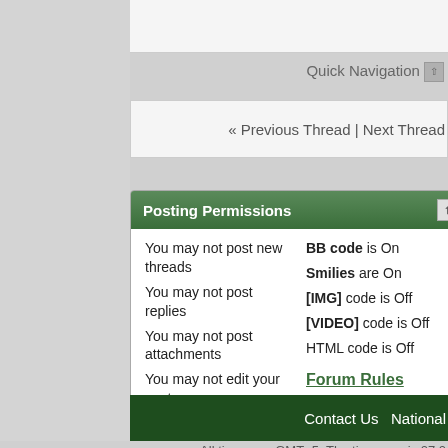Quick Navigation
« Previous Thread | Next Thread »
Posting Permissions
You may not post new threads
You may not post replies
You may not post attachments
You may not edit your posts
BB code is On
Smilies are On
[IMG] code is Off
[VIDEO] code is Off
HTML code is Off
Forum Rules
Contact Us  National
All times are GMT -5. The time now is 07:0
Powered by vBulletin® Version 4.2.3  Copyright © 2022 vBulletin Solutions, Inc. All righ